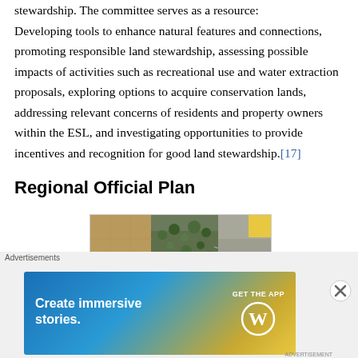stewardship. The committee serves as a resource: Developing tools to enhance natural features and connections, promoting responsible land stewardship, assessing possible impacts of activities such as recreational use and water extraction proposals, exploring options to acquire conservation lands, addressing relevant concerns of residents and property owners within the ESL, and investigating opportunities to provide incentives and recognition for good land stewardship.[17]
Regional Official Plan
[Figure (photo): Aerial photograph of land showing fields and vegetation, with a yellow corner accent element]